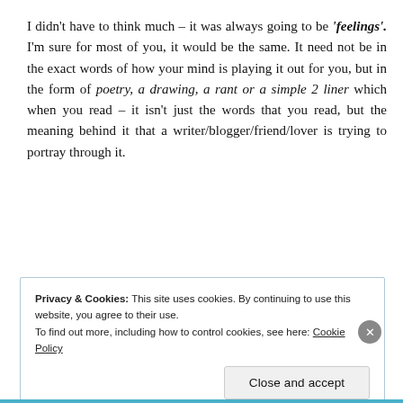I didn't have to think much – it was always going to be 'feelings'. I'm sure for most of you, it would be the same. It need not be in the exact words of how your mind is playing it out for you, but in the form of poetry, a drawing, a rant or a simple 2 liner which when you read – it isn't just the words that you read, but the meaning behind it that a writer/blogger/friend/lover is trying to portray through it.
REPORT THIS AD
Privacy & Cookies: This site uses cookies. By continuing to use this website, you agree to their use.
To find out more, including how to control cookies, see here: Cookie Policy
Close and accept